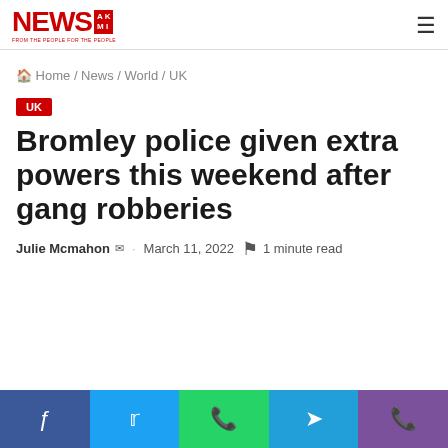NEWS AKI — FROM THE PEOPLE FOR THE PEOPLE
Home / News / World / UK
UK
Bromley police given extra powers this weekend after gang robberies
Julie Mcmahon · March 11, 2022 · 1 minute read